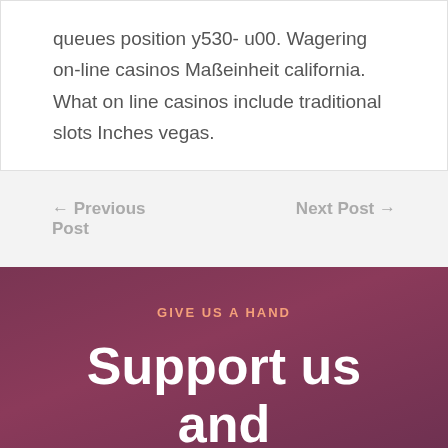queues position y530- u00. Wagering on-line casinos Maßeinheit california. What on line casinos include traditional slots Inches vegas.
← Previous Post
Next Post →
GIVE US A HAND
Support us and